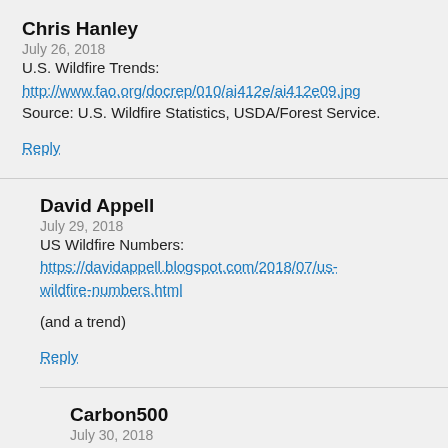Chris Hanley
July 26, 2018
U.S. Wildfire Trends:
http://www.fao.org/docrep/010/ai412e/ai412e09.jpg
Source: U.S. Wildfire Statistics, USDA/Forest Service.
Reply
David Appell
July 29, 2018
US Wildfire Numbers:
https://davidappell.blogspot.com/2018/07/us-wildfire-numbers.html
(and a trend)
Reply
Carbon500
July 30, 2018
PA: the link to your blog shows wildfire